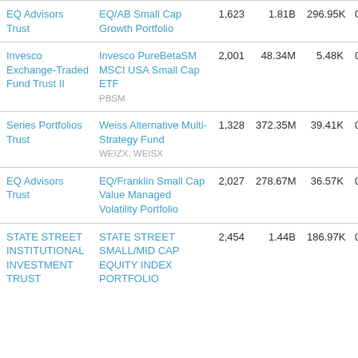| EQ Advisors Trust | EQ/AB Small Cap Growth Portfolio | 1,623 | 1.81B | 296.95K | 0.02 |
| Invesco Exchange-Traded Fund Trust II | Invesco PureBetaSM MSCI USA Small Cap ETF PBSM | 2,001 | 48.34M | 5.48K | 0.01 |
| Series Portfolios Trust | Weiss Alternative Multi-Strategy Fund WEIZX, WEISX | 1,328 | 372.35M | 39.41K | 0.01 |
| EQ Advisors Trust | EQ/Franklin Small Cap Value Managed Volatility Portfolio | 2,027 | 278.67M | 36.57K | 0.01 |
| STATE STREET INSTITUTIONAL INVESTMENT TRUST | STATE STREET SMALL/MID CAP EQUITY INDEX PORTFOLIO | 2,454 | 1.44B | 186.97K | 0.01 |